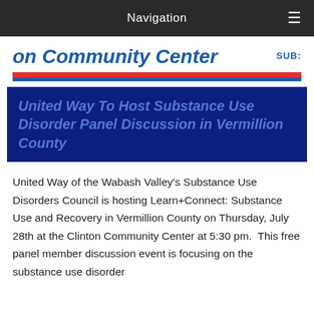Navigation
on Community Center
SUB:
United Way To Host Substance Use Disorder Panel Discussion in Vermillion County
United Way of the Wabash Valley's Substance Use Disorders Council is hosting Learn+Connect: Substance Use and Recovery in Vermillion County on Thursday, July 28th at the Clinton Community Center at 5:30 pm.  This free panel member discussion event is focusing on the substance use disorder